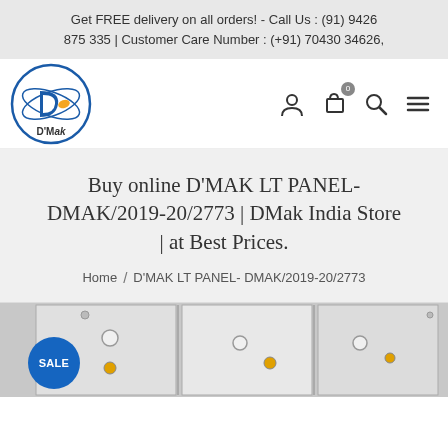Get FREE delivery on all orders! - Call Us : (91) 9426 875 335 | Customer Care Number : (+91) 70430 34626,
[Figure (logo): D'Mak logo — circular logo with blue ring, stylized D arrow, and text D'Mak]
Buy online D'MAK LT PANEL- DMAK/2019-20/2773 | DMak India Store | at Best Prices.
Home / D'MAK LT PANEL- DMAK/2019-20/2773
[Figure (photo): Product photo of D'MAK LT PANEL electrical panel with SALE badge, showing panel switches and knobs on a grey/white cabinet]